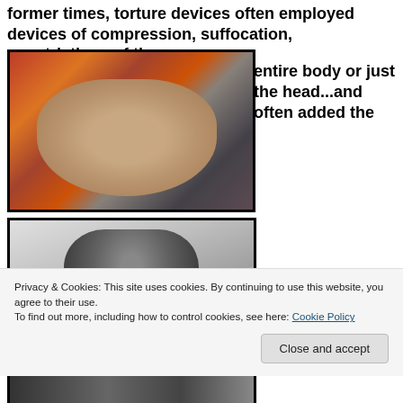former times, torture devices often employed devices of compression, suffocation, constriction...of the entire body or just the head...and often added the
[Figure (photo): A man having his head squeezed by two large orange theatrical mask props with exaggerated eyes, from a movie or theatrical production]
[Figure (photo): Black and white photograph of a stone or metal sculpture/statue figure, possibly ancient or medieval, showing a helmeted or robed figure]
Privacy & Cookies: This site uses cookies. By continuing to use this website, you agree to their use.
To find out more, including how to control cookies, see here: Cookie Policy
Close and accept
[Figure (photo): Partial black and white photograph visible at bottom of page]